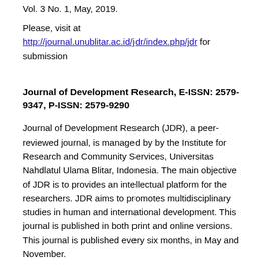Vol. 3 No. 1, May, 2019.
Please, visit at http://journal.unublitar.ac.id/jdr/index.php/jdr for submission
Journal of Development Research, E-ISSN: 2579-9347, P-ISSN: 2579-9290
Journal of Development Research (JDR), a peer-reviewed journal, is managed by by the Institute for Research and Community Services, Universitas Nahdlatul Ulama Blitar, Indonesia. The main objective of JDR is to provides an intellectual platform for the researchers. JDR aims to promotes multidisciplinary studies in human and international development. This journal is published in both print and online versions. This journal is published every six months, in May and November.